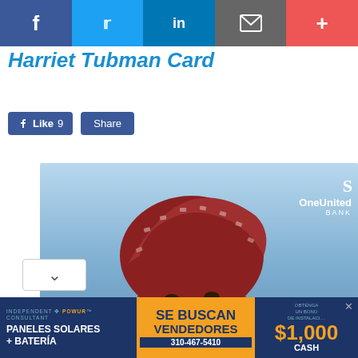[Figure (screenshot): Social media share bar with Facebook, Twitter, LinkedIn, email, and plus buttons]
Harriet Tubman Card
[Figure (screenshot): Facebook Like (9) and Share buttons]
[Figure (photo): OneUnited Bank credit card featuring artwork of Harriet Tubman with red head wrap, against a blue sky background. A gold EMV chip is visible on the lower left of the card.]
The Skanner delivers...to your inbox! Breaking news, local stories & events sent twice a week
[Figure (screenshot): Subscribe button for newsletter]
[Figure (screenshot): Infolinks advertisement bar at bottom with solar panel ad: INDEPENDENT POWUR CONSULTANT, PANELES SOLARES + BATERÍA, SE BUSCAN VENDEDORES, 310-467-5410, OBTENGA UN BONO DE INSTALACI... $1,000 CASH]